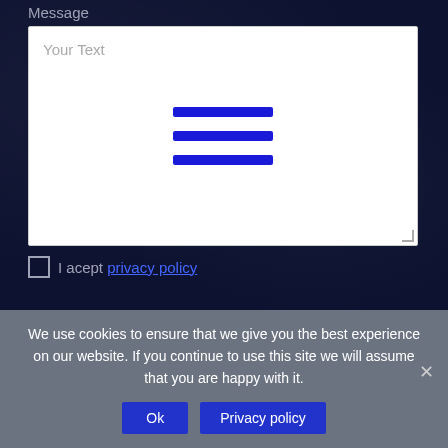Message
Your Text
[Figure (other): Text area with three horizontal blue lines (hamburger/resize icon) in the center]
I acept privacy policy
SEND
We use cookies to ensure that we give you the best experience on our website. If you continue to use this site we will assume that you are happy with it.
Ok
Privacy policy